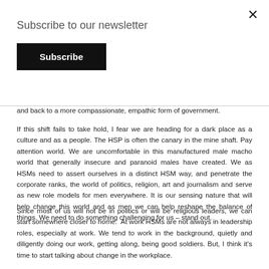Subscribe to our newsletter
Subscribe
and back to a more compassionate, empathic form of government.
If this shift fails to take hold, I fear we are heading for a dark place as a culture and as a people. The HSP is often the canary in the mine shaft. Pay attention world. We are uncomfortable in this manufactured male macho world that generally insecure and paranoid males have created. We as HSMs need to assert ourselves in a distinct HSM way, and penetrate the corporate ranks, the world of politics, religion, art and journalism and serve as new role models for men everywhere. It is our sensing nature that will help change this world and as men we can help reshape the balance of things. We need to do something challenging for us – stand out.
Since most of us will not be in politics or will be religious leaders, we can start somewhere closer to home.  At work HSMs are not always in leadership roles, especially at work. We tend to work in the background, quietly and diligently doing our work, getting along, being good soldiers. But, I think it's time to start talking about change in the workplace.